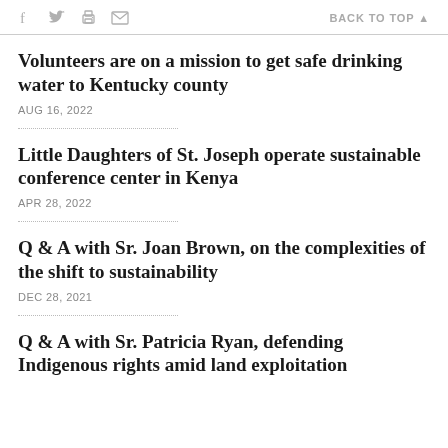f [twitter] [print] [email]  BACK TO TOP ▲
Volunteers are on a mission to get safe drinking water to Kentucky county
AUG 16, 2022
Little Daughters of St. Joseph operate sustainable conference center in Kenya
APR 28, 2022
Q & A with Sr. Joan Brown, on the complexities of the shift to sustainability
DEC 28, 2021
Q & A with Sr. Patricia Ryan, defending Indigenous rights amid land exploitation